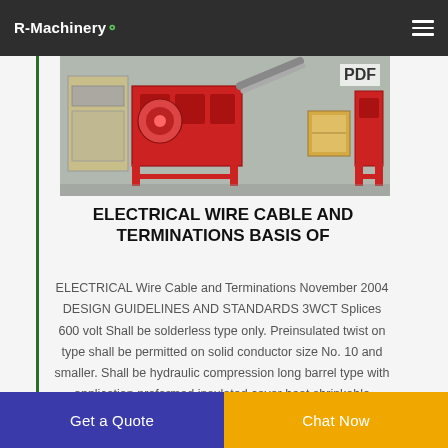R-Machinery
[Figure (photo): Industrial cable recycling / wire processing machine with red and beige components, conveyor, and bins. PDF badge in top right corner.]
ELECTRICAL WIRE CABLE AND TERMINATIONS BASIS OF
ELECTRICAL Wire Cable and Terminations November 2004 DESIGN GUIDELINES AND STANDARDS 3WCT Splices 600 volt Shall be solderless type only. Preinsulated twist on type shall be permitted on solid conductor size No. 10 and smaller. Shall be hydraulic compression long barrel type with application preformed insulated cover heat shrinkable
Get a Quote | Chat Now